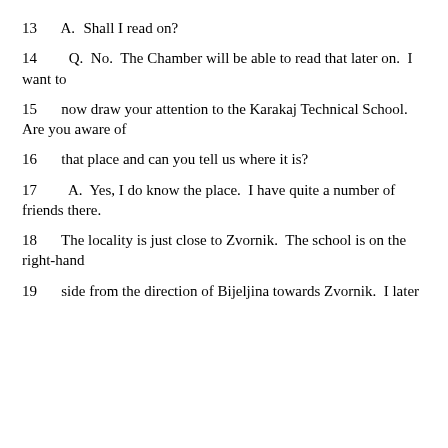13    A.   Shall I read on?
14      Q.   No.  The Chamber will be able to read that later on.  I want to
15    now draw your attention to the Karakaj Technical School.  Are you aware of
16    that place and can you tell us where it is?
17      A.   Yes, I do know the place.  I have quite a number of friends there.
18    The locality is just close to Zvornik.  The school is on the right-hand
19    side from the direction of Bijeljina towards Zvornik.  I later